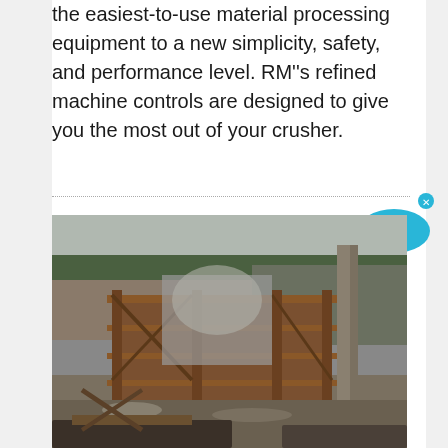the easiest-to-use material processing equipment to a new simplicity, safety, and performance level. RM''s refined machine controls are designed to give you the most out of your crusher.
[Figure (photo): Outdoor photograph of a large industrial crushing/processing machine at a quarry or mining site. The machine has a rusted steel frame structure with conveyor belts and scaffolding. Background shows a rocky hillside with trees and overcast sky. Gravel and debris are visible on the ground.]